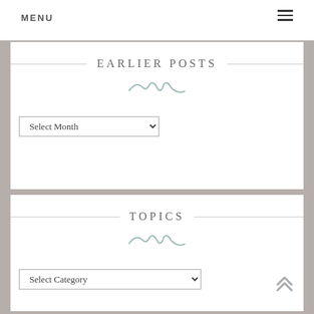MENU
EARLIER POSTS
Select Month (dropdown)
TOPICS
Select Category (dropdown)